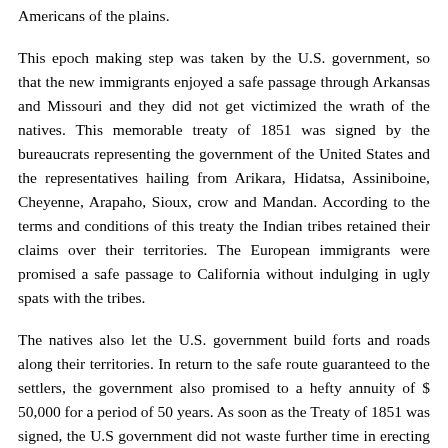Americans of the plains.
This epoch making step was taken by the U.S. government, so that the new immigrants enjoyed a safe passage through Arkansas and Missouri and they did not get victimized the wrath of the natives. This memorable treaty of 1851 was signed by the bureaucrats representing the government of the United States and the representatives hailing from Arikara, Hidatsa, Assiniboine, Cheyenne, Arapaho, Sioux, crow and Mandan. According to the terms and conditions of this treaty the Indian tribes retained their claims over their territories. The European immigrants were promised a safe passage to California without indulging in ugly spats with the tribes.
The natives also let the U.S. government build forts and roads along their territories. In return to the safe route guaranteed to the settlers, the government also promised to a hefty annuity of $ 50,000 for a period of 50 years. As soon as the Treaty of 1851 was signed, the U.S government did not waste further time in erecting and fortifying its trading posts. This quick move was made by the